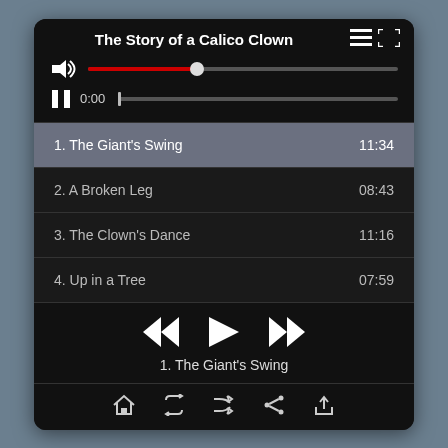The Story of a Calico Clown
1. The Giant's Swing  11:34
2. A Broken Leg  08:43
3. The Clown's Dance  11:16
4. Up in a Tree  07:59
1. The Giant's Swing